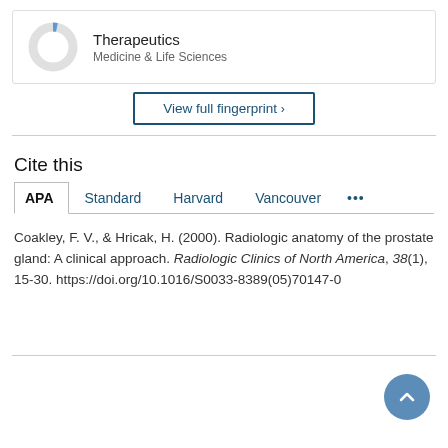[Figure (donut-chart): Small donut chart with a thin blue segment, representing Therapeutics percentage]
Therapeutics
Medicine & Life Sciences
View full fingerprint >
Cite this
APA   Standard   Harvard   Vancouver   ...
Coakley, F. V., & Hricak, H. (2000). Radiologic anatomy of the prostate gland: A clinical approach. Radiologic Clinics of North America, 38(1), 15-30. https://doi.org/10.1016/S0033-8389(05)70147-0